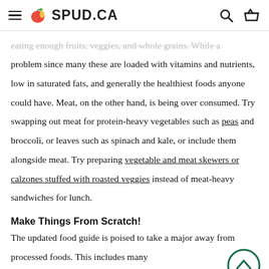SPUD.CA
eating enough fruits, veggies, and whole grains. While a problem since many these are loaded with vitamins and nutrients, low in saturated fats, and generally the healthiest foods anyone could have. Meat, on the other hand, is being over consumed. Try swapping out meat for protein-heavy vegetables such as peas and broccoli, or leaves such as spinach and kale, or include them alongside meat. Try preparing vegetable and meat skewers or calzones stuffed with roasted veggies instead of meat-heavy sandwiches for lunch.
Make Things From Scratch!
The updated food guide is poised to take a major away from processed foods. This includes many